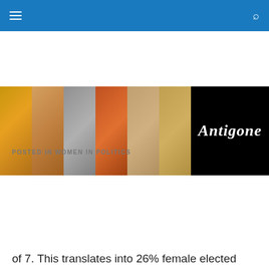[Navigation bar with hamburger menu and search icon]
[Figure (photo): Banner image with six diverse women's faces in photo strips next to an 'Antigone' logo on black background]
POSTED IN WOMEN IN POLITICS
Privacy & Cookies: This site uses cookies. By continuing to use this website, you agree to their use.
To find out more, including how to control cookies, see here: Cookie Policy
[Close and accept button]
of 7. This translates into 26% female elected